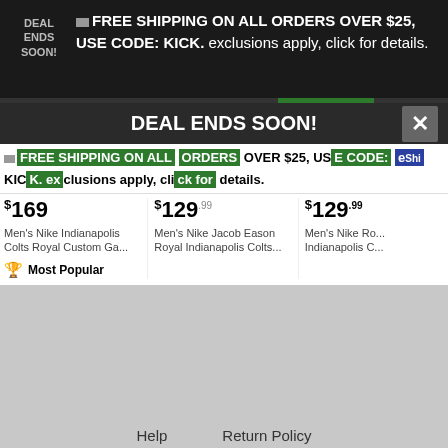DEAL ENDS SOON! FREE SHIPPING ON ALL ORDERS OVER $25, USE CODE: KICK. exclusions apply, click for details.
DEAL ENDS SOON!
FREE SHIPPING ON ALL ORDERS OVER $25, USE CODE: KICK. exclusions apply, click for details.
$169 Men's Nike Indianapolis Colts Royal Custom Ga... Most Popular
$129 Men's Nike Jacob Eason Royal Indianapolis Colts...
$129.99 Men's Nike Ro... Indianapolis C...
Help   Return Policy   Track My Order